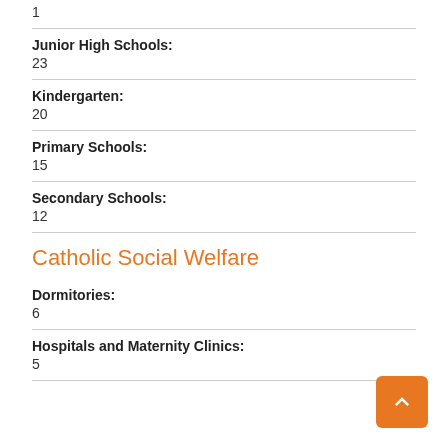1
Junior High Schools: 23
Kindergarten: 20
Primary Schools: 15
Secondary Schools: 12
Catholic Social Welfare
Dormitories: 6
Hospitals and Maternity Clinics: 5